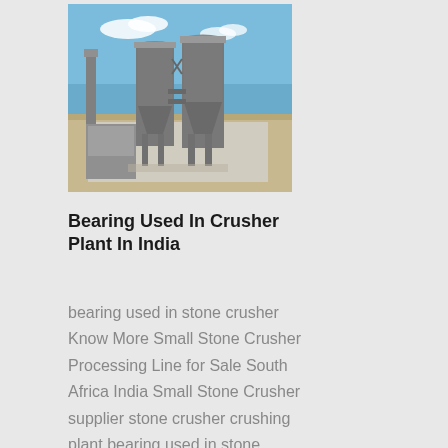[Figure (photo): Aerial view of industrial crusher plant with two large cylindrical silos and structural framework against a blue sky with sparse clouds, flat arid land in background.]
Bearing Used In Crusher Plant In India
bearing used in stone crusher Know More Small Stone Crusher Processing Line for Sale South Africa India Small Stone Crusher supplier stone crusher crushing plant bearing used in stone crusher …